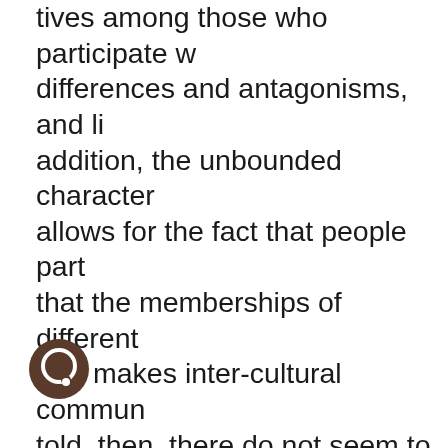tives among those who participate w differences and antagonisms, and li addition, the unbounded character allows for the fact that people part that the memberships of different turn makes inter-cultural commun told, then, there do not seem to be cal) barriers to the possibility of society that is also a participatory d a society with many different pub which participants can deliberate as policy that concerns them all. In general, I have been arguing tha better achieved by a multiplicity o is true both for stratified societies eties, albeit for different reaso intended as a simple postmodern solo